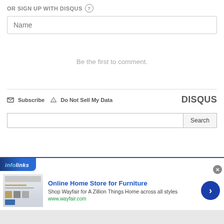OR SIGN UP WITH DISQUS ?
Name
Be the first to comment.
Subscribe  Do Not Sell My Data  DISQUS
Search
[Figure (screenshot): Infolinks advertisement banner for Wayfair: 'Online Home Store for Furniture' with Wayfair branding, product image, and navigation arrow]
Online Home Store for Furniture
Shop Wayfair for A Zillion Things Home across all styles
www.wayfair.com